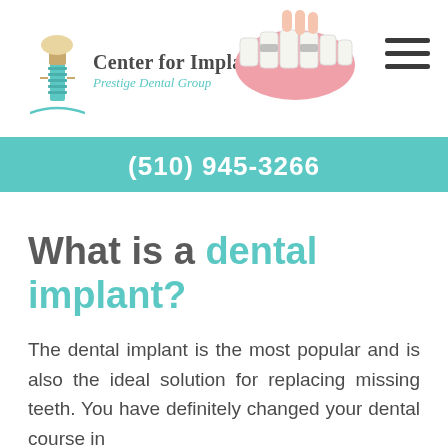[Figure (logo): Center for Implant Dentistry - Prestige Dental Group logo with dental implant icon and teeth image]
(510) 945-3266
What is a dental implant?
The dental implant is the most popular and is also the ideal solution for replacing missing teeth. You have definitely changed your dental course in